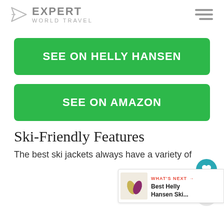EXPERT WORLD TRAVEL
SEE ON HELLY HANSEN
SEE ON AMAZON
Ski-Friendly Features
WHAT'S NEXT → Best Helly Hansen Ski...
The best ski jackets always have a variety of